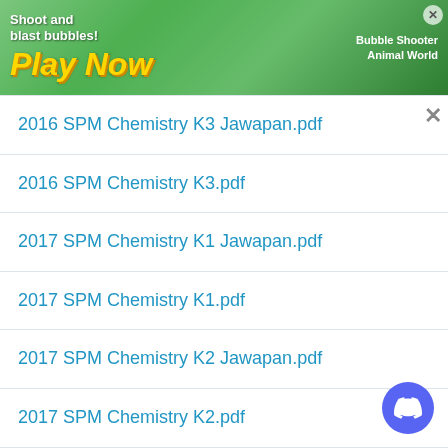[Figure (screenshot): Game advertisement banner for a bubble shooter game titled 'Play Now' with colorful graphics]
2016 SPM Chemistry K3 Jawapan.pdf
2016 SPM Chemistry K3.pdf
2017 SPM Chemistry K1 Jawapan.pdf
2017 SPM Chemistry K1.pdf
2017 SPM Chemistry K2 Jawapan.pdf
2017 SPM Chemistry K2.pdf
2017 SPM Chemistry K3 Jawapan.pdf
2017 SPM Chemistry K3.pdf
2018 SPM Chemistry K1.pdf